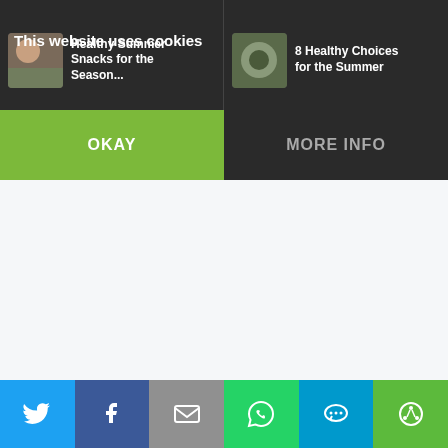[Figure (screenshot): Website cookie consent overlay on a health/food article page showing two article card thumbnails in the background with dark overlay]
This website uses cookies
OKAY
MORE INFO
[Figure (infographic): Social share bar at the bottom with Twitter (blue), Facebook (dark blue), Email (gray), WhatsApp (green), SMS (light blue), and More (green) buttons]